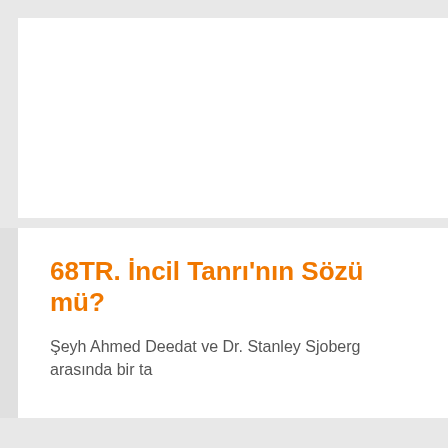68TR. İncil Tanrı'nın Sözü mü?
Şeyh Ahmed Deedat ve Dr. Stanley Sjoberg arasında bir ta